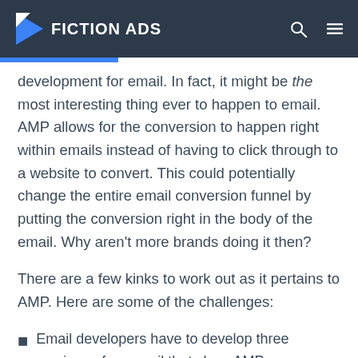FICTION ADS
development for email. In fact, it might be the most interesting thing ever to happen to email. AMP allows for the conversion to happen right within emails instead of having to click through to a website to convert. This could potentially change the entire email conversion funnel by putting the conversion right in the body of the email. Why aren't more brands doing it then?
There are a few kinks to work out as it pertains to AMP. Here are some of the challenges:
Email developers have to develop three versions of an email that show AMP capabilities, HTML, and a